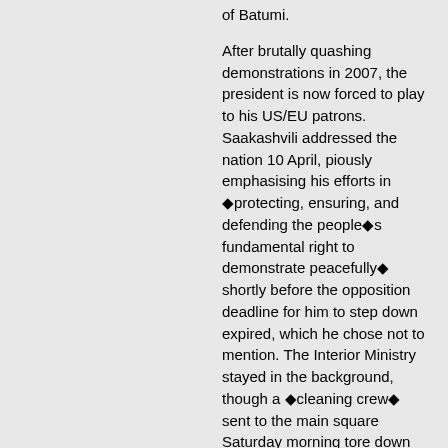organised a protest in his hometown of Batumi.
After brutally quashing demonstrations in 2007, the president is now forced to play to his US/EU patrons. Saakashvili addressed the nation 10 April, piously emphasising his efforts in ◆protecting, ensuring, and defending the people◆s fundamental right to demonstrate peacefully◆ shortly before the opposition deadline for him to step down expired, which he chose not to mention. The Interior Ministry stayed in the background, though a ◆cleaning crew◆ sent to the main square Saturday morning tore down their banners and ripped up their computer cables. Opposition leaders described them as a 50-strong mob which attacked them. Considering Saakashvili◆s unpopularity, any bono fide cleaners would surely have joined the protesters instead of threatening them. Of course, the Interior Ministry denied any knowledge of the cleaners.
Yet another defector from the Saakashvili camp, former foreign minister Salome Zurabishvili, said, ◆From Monday a new wave of protests will start . . . No one should try and frighten us; it won◆t work in